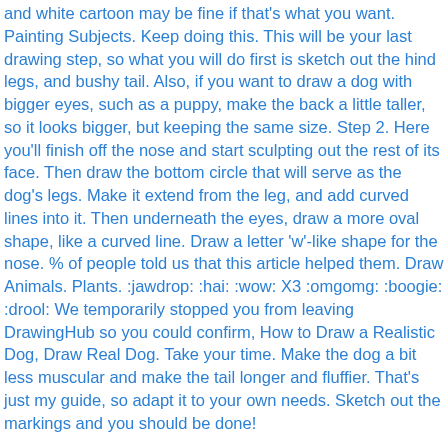and white cartoon may be fine if that's what you want. Painting Subjects. Keep doing this. This will be your last drawing step, so what you will do first is sketch out the hind legs, and bushy tail. Also, if you want to draw a dog with bigger eyes, such as a puppy, make the back a little taller, so it looks bigger, but keeping the same size. Step 2. Here you'll finish off the nose and start sculpting out the rest of its face. Then draw the bottom circle that will serve as the dog's legs. Make it extend from the leg, and add curved lines into it. Then underneath the eyes, draw a more oval shape, like a curved line. Draw a letter 'w'-like shape for the nose. % of people told us that this article helped them. Draw Animals. Plants. :jawdrop: :hai: :wow: X3 :omgomg: :boogie: :drool: We temporarily stopped you from leaving DrawingHub so you could confirm, How to Draw a Realistic Dog, Draw Real Dog. Take your time. Make the dog a bit less muscular and make the tail longer and fluffier. That's just my guide, so adapt it to your own needs. Sketch out the markings and you should be done!